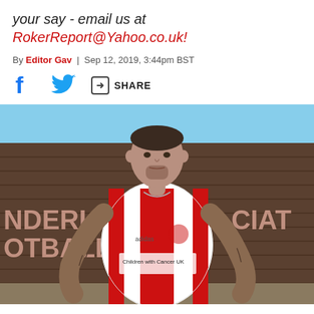your say - email us at RokerReport@Yahoo.co.uk!
By Editor Gav | Sep 12, 2019, 3:44pm BST
SHARE
[Figure (photo): A footballer wearing a red and white striped Sunderland AFC kit (Children with Cancer UK sponsor) posing in front of a Sunderland AFC backdrop, arms on hips, heavily tattooed arms visible.]